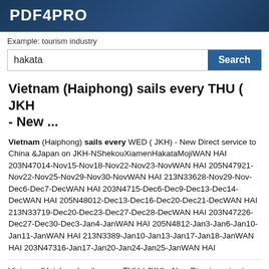PDF4PRO
Example: tourism industry
hakata  Search
Vietnam (Haiphong) sails every THU ( JKH - New ...
Vietnam (Haiphong) sails every WED ( JKH) - New Direct service to China &Japan on JKH-NShekouXiamenHakataMojiWAN HAI 203N47014-Nov15-Nov18-Nov22-Nov23-NovWAN HAI 205N47921-Nov22-Nov25-Nov29-Nov30-NovWAN HAI 213N33628-Nov29-Nov-Dec6-Dec7-DecWAN HAI 203N4715-Dec6-Dec9-Dec13-Dec14-DecWAN HAI 205N48012-Dec13-Dec16-Dec20-Dec21-DecWAN HAI 213N33719-Dec20-Dec23-Dec27-Dec28-DecWAN HAI 203N47226-Dec27-Dec30-Dec3-Jan4-JanWAN HAI 205N4812-Jan3-Jan6-Jan10-Jan11-JanWAN HAI 213N3389-Jan10-Jan13-Jan17-Jan18-JanWAN HAI 203N47316-Jan17-Jan20-Jan24-Jan25-JanWAN HAI
Vietnam (Haiphong) sails every THU ( JKH) - New Direct service to China &Japan on JKH-N Shekou Xiamen Hakata Moji WAN HAI 205